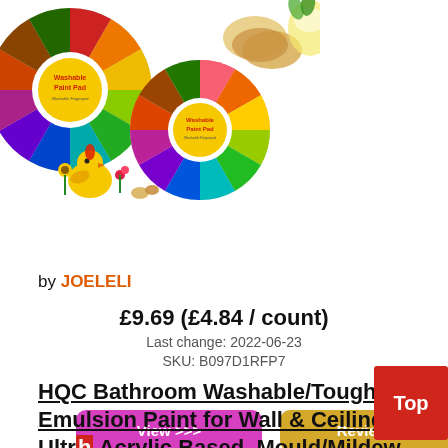[Figure (photo): Two colorful washable paint pads (circular, multi-colored segments with yellow center labels reading 'Washable Paint Pad') and decorative illustrations of a bird and flowers, plus a small image of biscuits and a lemon tea cup in the upper right.]
View >>>
Reviews >>>
by JOELELI
£9.69 (£4.84 / count)
Last change: 2022-06-23
SKU: B097D1RFP7
HQC Bathroom Washable/Tough Matt Emulsion Paint for Wall & Ceiling, Ultr... h Acrylic Based, Mould/Mildew Proof Anti